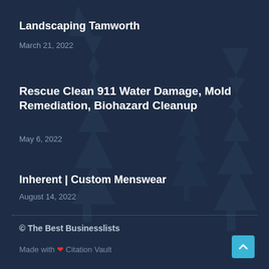Landscaping Tamworth
March 21, 2022
Rescue Clean 911 Water Damage, Mold Remediation, Biohazard Cleanup
May 6, 2022
Inherent | Custom Menswear
August 14, 2022
© The Best Businesslists
Made with ❤ Citation Vault